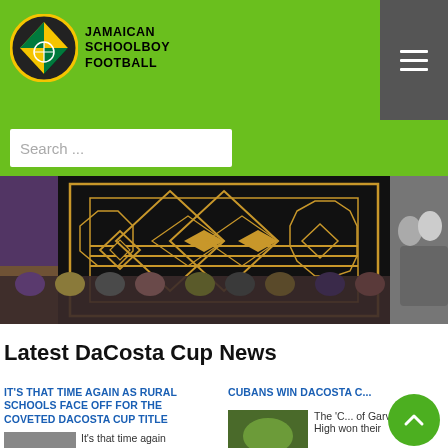[Figure (logo): Jamaican Schoolboy Football logo with circular emblem and text]
Search ...
[Figure (photo): Banner image with decorative black and gold geometric pattern, flanked by event photos on left and couple photo on right, crowd photos at bottom]
Latest DaCosta Cup News
IT'S THAT TIME AGAIN AS RURAL SCHOOLS FACE OFF FOR THE COVETED DACOSTA CUP TITLE
It's that time again
Cubans win DaCosta C...
The 'C... of Garvey Maceo High won their